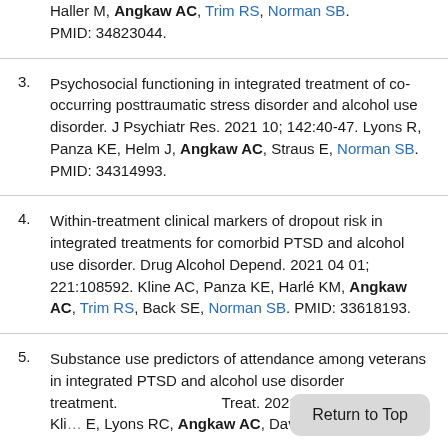Haller M, Angkaw AC, Trim RS, Norman SB. PMID: 34823044.
3. Psychosocial functioning in integrated treatment of co-occurring posttraumatic stress disorder and alcohol use disorder. J Psychiatr Res. 2021 10; 142:40-47. Lyons R, Panza KE, Helm J, Angkaw AC, Straus E, Norman SB. PMID: 34314993.
4. Within-treatment clinical markers of dropout risk in integrated treatments for comorbid PTSD and alcohol use disorder. Drug Alcohol Depend. 2021 04 01; 221:108592. Kline AC, Panza KE, Harlé KM, Angkaw AC, Trim RS, Back SE, Norman SB. PMID: 33618193.
5. Substance use predictors of attendance among veterans in integrated PTSD and alcohol use disorder treatment. Treat. 2021 05; 124:108278. Kli… E, Lyons RC, Angkaw AC, Davis BC, Haller M,